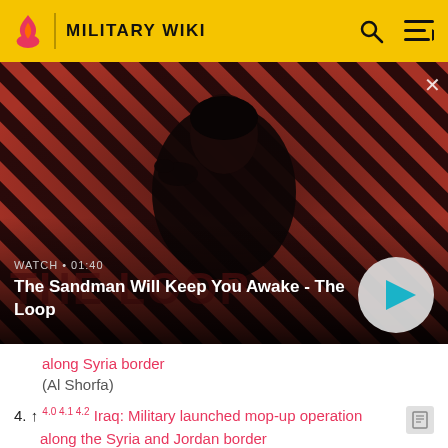MILITARY WIKI
[Figure (screenshot): Video thumbnail for 'The Sandman Will Keep You Awake - The Loop' with a dark figure, striped red/black background, watch label and play button. Duration shown: 01:40]
WATCH • 01:40
The Sandman Will Keep You Awake - The Loop
along Syria border (Al Shorfa)
4. ↑ 4.0 4.1 4.2 Iraq: Military launched mop-up operation along the Syria and Jordan border (InSerbia.info)
5. ↑ 5.0 5.1 5.2 5.3 3 Iraqi policemen killed in gunmen attack near border with Syria (China Global Times)